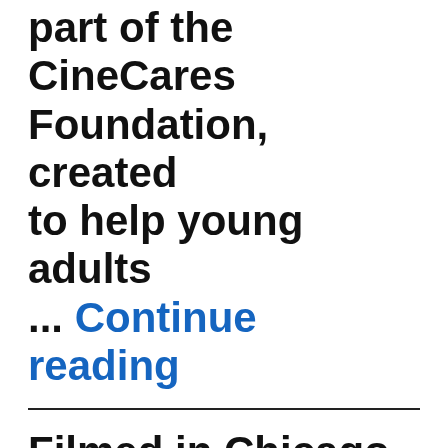part of the CineCares Foundation, created to help young adults ... Continue reading
Filmed in Chicago '61st Street'